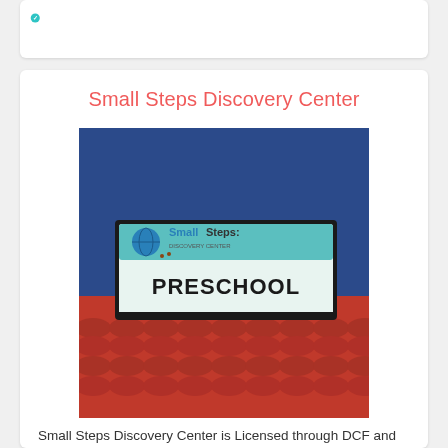Small Steps Discovery Center
[Figure (photo): Exterior sign of Small Steps Discovery Center Preschool mounted on a red tile roof with blue sky background]
Small Steps Discovery Center is Licensed through DCF and accepts coalition funding for Pasco and Pin ...
Learn more! →
Hours: 6:30 to 6:00
Age: 6 weeks to 5 years